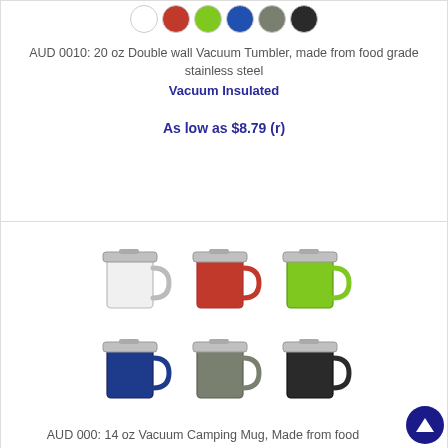[Figure (photo): Color swatches row showing white, red, lime green, blue, olive/grey, dark grey/black circles for product color options]
AUD 0010: 20 oz Double wall Vacuum Tumbler, made from food grade stainless steel
Vacuum Insulated
As low as $8.79 (r)
[Figure (photo): Six vacuum insulated camping mugs with handles and lids shown in two rows of three: top row white, red, lime green; bottom row blue, olive/grey, black]
AUD 000: 14 oz Vacuum Camping Mug, Made from food